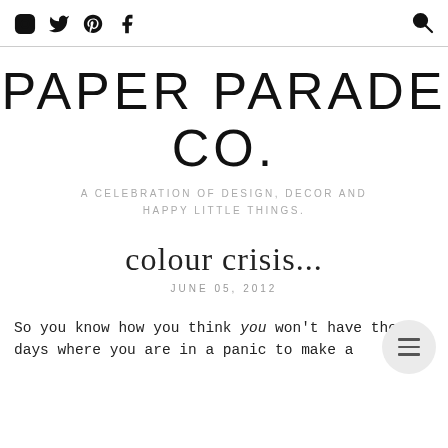Social icons: Instagram, Twitter, Pinterest, Facebook | Search
PAPER PARADE CO.
A CELEBRATION OF DESIGN, DECOR AND HAPPY LITTLE THINGS.
colour crisis...
JUNE 05, 2012
So you know how you think you won't have those days where you are in a panic to make a